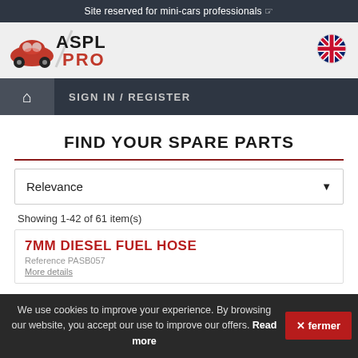Site reserved for mini-cars professionals ☞
[Figure (logo): ASPL PRO logo with red car silhouette and red/black text]
[Figure (logo): UK flag circle icon]
🏠  SIGN IN / REGISTER
FIND YOUR SPARE PARTS
Relevance ▾
Showing 1-42 of 61 item(s)
7MM DIESEL FUEL HOSE
Reference PASB057
More details
We use cookies to improve your experience. By browsing our website, you accept our use to improve our offers. Read more
✕ fermer